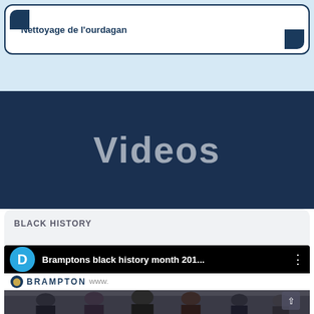Nettoyage de l'ourdagan
Videos
BLACK HISTORY
Bramptons black history month 201...